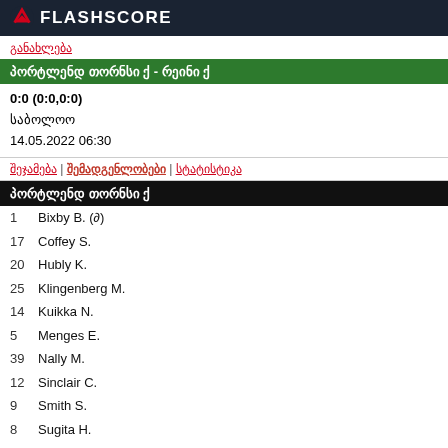FLASHSCORE
განახლება
პორტლენდ თორნსი ქ - რეინი ქ
0:0 (0:0,0:0)
საბოლოო
14.05.2022 06:30
შეჯამება | შემადგენლობები | სტატისტიკა
პორტლენდ თორნსი ქ
1   Bixby B. (∂)
17  Coffey S.
20  Hubly K.
25  Klingenberg M.
14  Kuikka N.
5   Menges E.
39  Nally M.
12  Sinclair C.
9   Smith S.
8   Sugita H.
22  Weaver M.
35  Smith A. (∂)
16  Beckie J.
41  Betfort H.
13  Moultrie O.
15  Pogarch M.